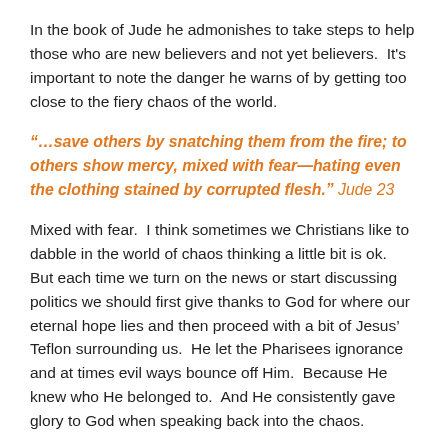In the book of Jude he admonishes to take steps to help those who are new believers and not yet believers.  It's important to note the danger he warns of by getting too close to the fiery chaos of the world.
“…save others by snatching them from the fire; to others show mercy, mixed with fear—hating even the clothing stained by corrupted flesh.” Jude 23
Mixed with fear.  I think sometimes we Christians like to dabble in the world of chaos thinking a little bit is ok.  But each time we turn on the news or start discussing politics we should first give thanks to God for where our eternal hope lies and then proceed with a bit of Jesus’ Teflon surrounding us.  He let the Pharisees ignorance and at times evil ways bounce off Him.  Because He knew who He belonged to.  And He consistently gave glory to God when speaking back into the chaos.